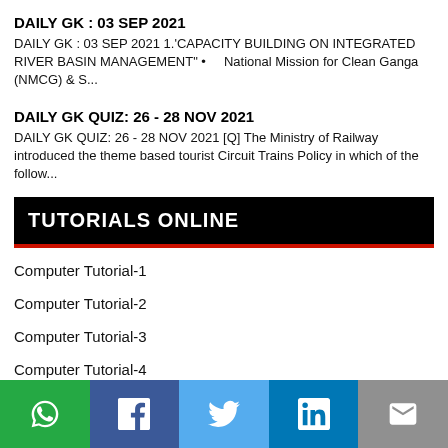DAILY GK : 03 SEP 2021
DAILY GK : 03 SEP 2021 1.'CAPACITY BUILDING ON INTEGRATED RIVER BASIN MANAGEMENT" •       National Mission for Clean Ganga (NMCG) & S...
DAILY GK QUIZ: 26 - 28 NOV 2021
DAILY GK QUIZ: 26 - 28 NOV 2021 [Q] The Ministry of Railway introduced the theme based tourist Circuit Trains Policy in which of the follow...
TUTORIALS ONLINE
Computer Tutorial-1
Computer Tutorial-2
Computer Tutorial-3
Computer Tutorial-4
Computer Tutorial-5
Computer Tutorial-6